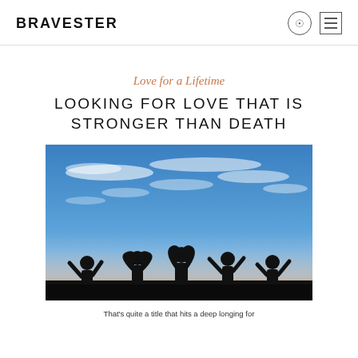BRAVESTER
Love for a Lifetime
LOOKING FOR LOVE THAT IS STRONGER THAN DEATH
[Figure (photo): Silhouettes of several people against a blue sky with wispy clouds at dusk, some making heart shapes with their hands.]
That's quite a title that hits a deep longing for